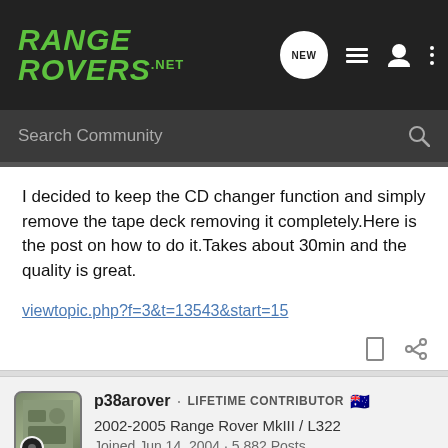RANGE ROVERS .NET
I decided to keep the CD changer function and simply remove the tape deck removing it completely.Here is the post on how to do it.Takes about 30min and the quality is great.
viewtopic.php?f=3&t=13543&start=15
p38arover · LIFETIME CONTRIBUTOR
2002-2005 Range Rover MkIII / L322
Joined Jun 14, 2004 · 5,882 Posts
#14 · Apr 11, 2010